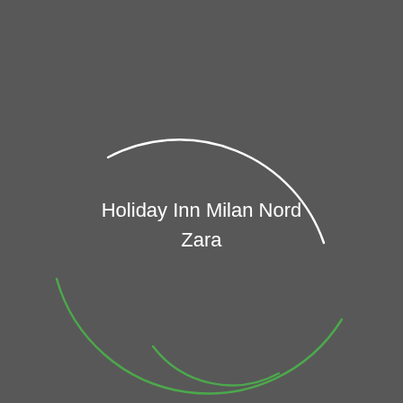[Figure (illustration): Dark grey background with two decorative circular arc elements: one white arc in the upper portion of the circle and one green arc forming the lower portion, creating a circular logo/design motif. Text 'Holiday Inn Milan Nord Zara' centered in the middle.]
Holiday Inn Milan Nord Zara